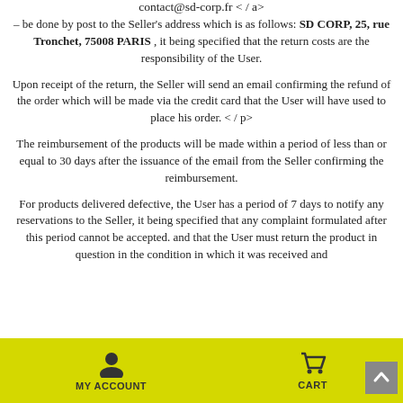contact@sd-corp.fr < / a>
– be done by post to the Seller's address which is as follows: SD CORP, 25, rue Tronchet, 75008 PARIS , it being specified that the return costs are the responsibility of the User.
Upon receipt of the return, the Seller will send an email confirming the refund of the order which will be made via the credit card that the User will have used to place his order. < / p>
The reimbursement of the products will be made within a period of less than or equal to 30 days after the issuance of the email from the Seller confirming the reimbursement.
For products delivered defective, the User has a period of 7 days to notify any reservations to the Seller, it being specified that any complaint formulated after this period cannot be accepted. and that the User must return the product in question in the condition in which it was received and
MY ACCOUNT    CART